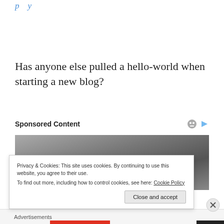...p...y...
Has anyone else pulled a hello-world when starting a new blog?
Sponsored Content
[Figure (photo): Partial view of a person's head/hair, dark background, appears to be an advertisement photo]
Privacy & Cookies: This site uses cookies. By continuing to use this website, you agree to their use.
To find out more, including how to control cookies, see here: Cookie Policy
Close and accept
Advertisements